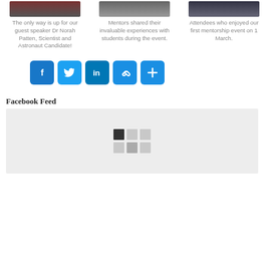[Figure (photo): Photo of guest speaker Dr Norah Patten]
The only way is up for our guest speaker Dr Norah Patten, Scientist and Astronaut Candidate!
[Figure (photo): Photo of mentors sharing experiences with students]
Mentors shared their invaluable experiences with students during the event.
[Figure (photo): Photo of attendees at first mentorship event]
Attendees who enjoyed our first mentorship event on 1 March.
[Figure (infographic): Social media sharing buttons: Facebook, Twitter, LinkedIn, Link, Plus/Share]
Facebook Feed
[Figure (screenshot): Facebook Feed loading placeholder with grid spinner]